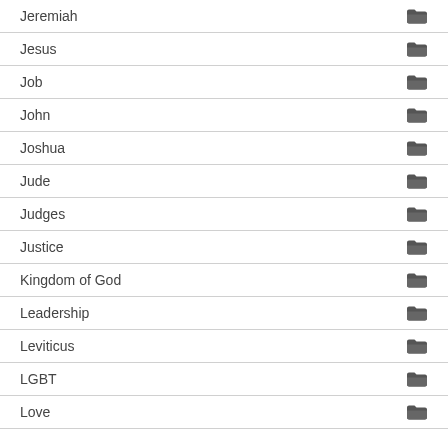Jeremiah
Jesus
Job
John
Joshua
Jude
Judges
Justice
Kingdom of God
Leadership
Leviticus
LGBT
Love